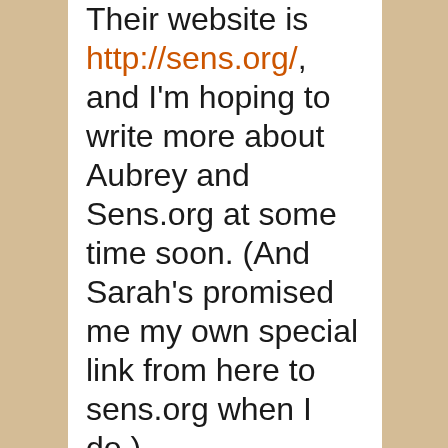Their website is http://sens.org/, and I'm hoping to write more about Aubrey and Sens.org at some time soon. (And Sarah's promised me my own special link from here to sens.org when I do.)
And then I came home. (I came home